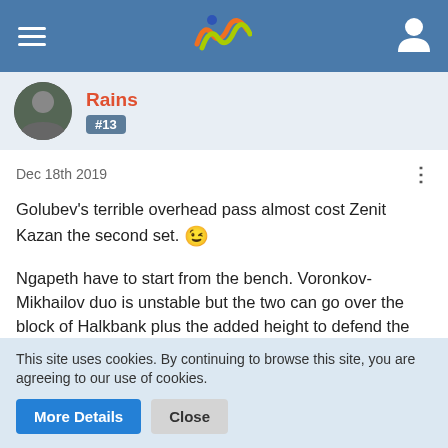[Figure (screenshot): Navigation bar with hamburger menu, wave logo, and user icon on blue background]
Rains
#13
Dec 18th 2019
Golubev's terrible overhead pass almost cost Zenit Kazan the second set. 😉
Ngapeth have to start from the bench. Voronkov-Mikhailov duo is unstable but the two can go over the block of Halkbank plus the added height to defend the opposite and it makes Mikhailov less of a target for the servers. Mikhailov is also the best server of the team. Benching him will probably make it harder for Kazan to widen the gap or chase the lead.
This site uses cookies. By continuing to browse this site, you are agreeing to our use of cookies.
More Details
Close